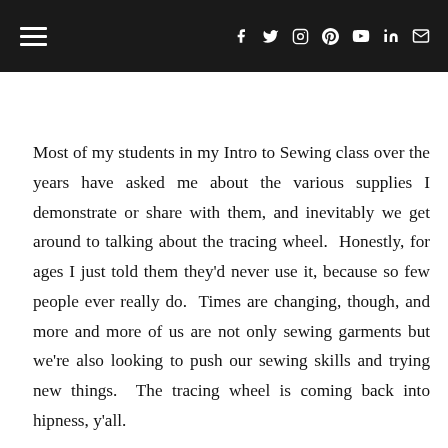☰ [hamburger menu] | f t ✉ [social icons: Facebook, Twitter, Instagram, Pinterest, YouTube, LinkedIn, Email]
Most of my students in my Intro to Sewing class over the years have asked me about the various supplies I demonstrate or share with them, and inevitably we get around to talking about the tracing wheel.  Honestly, for ages I just told them they'd never use it, because so few people ever really do.  Times are changing, though, and more and more of us are not only sewing garments but we're also looking to push our sewing skills and trying new things.  The tracing wheel is coming back into hipness, y'all.